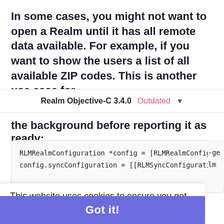In some cases, you might not want to open a Realm until it has all remote data available. For example, if you want to show the users a list of all available ZIP codes. This is another use case for
Realm Objective-C 3.4.0  Outdated ▾
the background before reporting it as ready:
RLMRealmConfiguration *config = [RLMRealmConfigu
config.syncConfiguration = [[RLMSyncConfiguratio
This website uses cookies to ensure you get the best experience on our website.
Learn more
Got it!